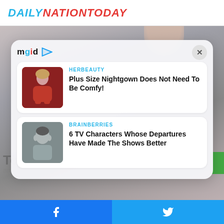DAILYNATIONTODAY
[Figure (screenshot): Website screenshot showing a mgid ad overlay on top of a background image (hand holding a crystal). Two sponsored content cards visible: HERBEAUTY - Plus Size Nightgown Does Not Need To Be Comfy!, and BRAINBERRIES - 6 TV Characters Whose Departures Have Made The Shows Better. A close button (X) appears top-right of the overlay.]
HERBEAUTY
Plus Size Nightgown Does Not Need To Be Comfy!
BRAINBERRIES
6 TV Characters Whose Departures Have Made The Shows Better